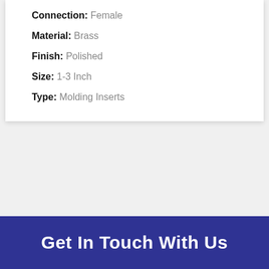Connection: Female
Material: Brass
Finish: Polished
Size: 1-3 Inch
Type: Molding Inserts
Get In Touch With Us